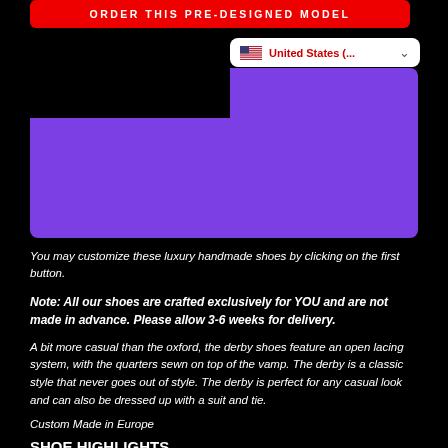ORDER THIS PRE-DESIGNED MODEL
[Figure (screenshot): Dropdown selector showing United States flag and text 'United States (..', with a chevron/arrow icon]
[Figure (illustration): Purple rectangle area (product image placeholder)]
You may customize these luxury handmade shoes by clicking on the first button.
Note: All our shoes are crafted exclusively for YOU and are not made in advance. Please allow 3-6 weeks for delivery.
A bit more casual than the oxford, the derby shoes feature an open lacing system, with the quarters sewn on top of the vamp. The derby is a classic style that never goes out of style. The derby is perfect for any casual look and can also be dressed up with a suit and tie.
Custom Made in Europe
SHOE HIGHLIGHTS
Upper Materials: Med Brown Box Calf, Dark Brown Pebble Grain